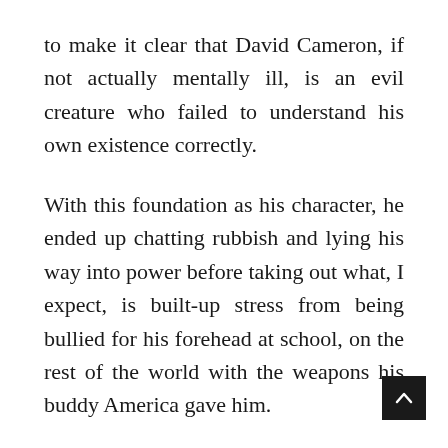to make it clear that David Cameron, if not actually mentally ill, is an evil creature who failed to understand his own existence correctly.
With this foundation as his character, he ended up chatting rubbish and lying his way into power before taking out what, I expect, is built-up stress from being bullied for his forehead at school, on the rest of the world with the weapons his buddy America gave him.
My message for them is to embrace Islam.